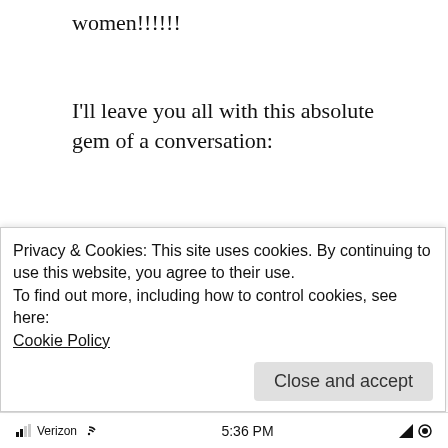women!!!!!!
I'll leave you all with this absolute gem of a conversation:
[Figure (screenshot): Screenshot of a dating app (Tinder-like) showing Matt, 27 with a verified badge, and a chat panel on the right showing a message conversation where someone says 'Loyaitly is hard' and the reply is 'it's not a word'. The bottom shows text 'Is loyaitly that hard to find'. A cookie consent overlay appears at the bottom of the screenshot.]
Privacy & Cookies: This site uses cookies. By continuing to use this website, you agree to their use.
To find out more, including how to control cookies, see here:
Cookie Policy
Verizon  5:36 PM